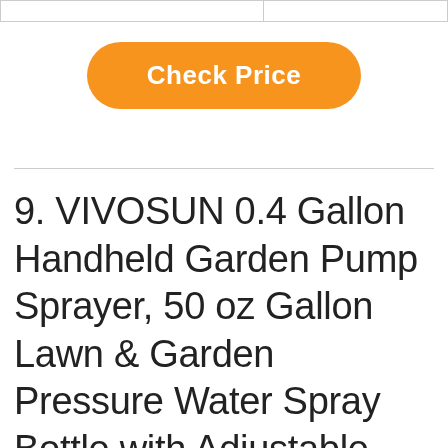|  |  |
Check Price
9. VIVOSUN 0.4 Gallon Handheld Garden Pump Sprayer, 50 oz Gallon Lawn & Garden Pressure Water Spray Bottle with Adjustable Brass Nozzle, for Plants and Other Cleaning Solutions (1.5L